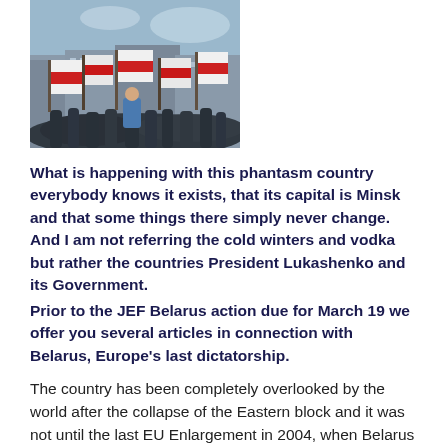[Figure (photo): Crowd of people waving large white-red-white Belarusian opposition flags in an urban street setting with buildings in the background.]
What is happening with this phantasm country everybody knows it exists, that its capital is Minsk and that some things there simply never change. And I am not referring the cold winters and vodka but rather the countries President Lukashenko and its Government.
Prior to the JEF Belarus action due for March 19 we offer you several articles in connection with Belarus, Europe's last dictatorship.
The country has been completely overlooked by the world after the collapse of the Eastern block and it was not until the last EU Enlargement in 2004, when Belarus suddenly became 'our' neighbour that this